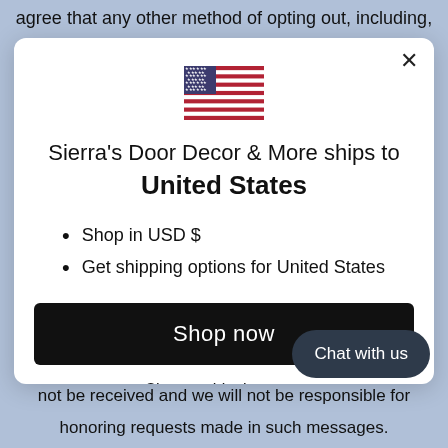agree that any other method of opting out, including,
[Figure (screenshot): A modal dialog box with a US flag, text about Sierra's Door Decor & More shipping to United States, bullet points about shopping in USD and getting shipping options, a Shop now button, and a Change shipping country link.]
not be received and we will not be responsible for
honoring requests made in such messages.